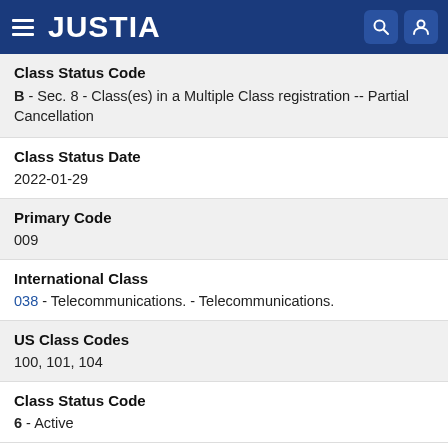JUSTIA
Class Status Code
B - Sec. 8 - Class(es) in a Multiple Class registration -- Partial Cancellation
Class Status Date
2022-01-29
Primary Code
009
International Class
038 - Telecommunications. - Telecommunications.
US Class Codes
100, 101, 104
Class Status Code
6 - Active